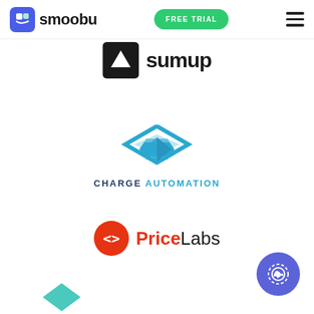[Figure (logo): Smoobu logo with blue square icon and wordmark]
[Figure (logo): FREE TRIAL green pill button]
[Figure (logo): Hamburger menu icon]
[Figure (logo): SumUp logo - black square icon with white arrow and SumUp wordmark]
[Figure (logo): Charge Automation logo - blue geometric diamond/arrow shape with CHARGE AUTOMATION text]
[Figure (logo): PriceLabs logo - red circle with code icon and PriceLabs wordmark]
[Figure (logo): Phone call floating action button in purple]
[Figure (logo): Partial teal logo at bottom, partially cut off]